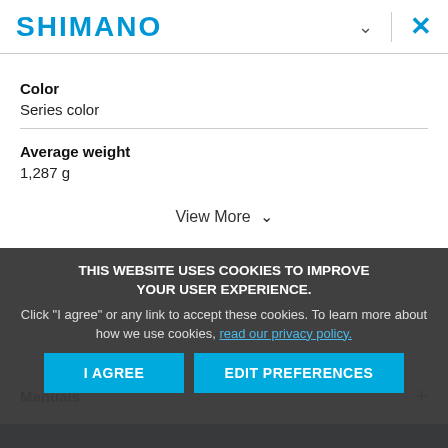SHIMANO
Color
Series color
Average weight
1,287 g
View More
Manuals
THIS WEBSITE USES COOKIES TO IMPROVE YOUR USER EXPERIENCE. Click "I agree" or any link to accept these cookies. To learn more about how we use cookies, read our privacy policy.
I AGREE
EDIT PREFERENCES